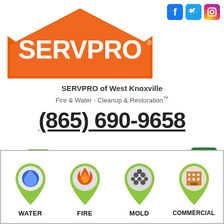[Figure (logo): Social media icons: Facebook, Twitter, Instagram]
[Figure (logo): SERVPRO logo with orange house/roof shape and white SERVPRO text]
SERVPRO of West Knoxville
Fire & Water - Cleanup & Restoration™
(865) 690-9658
[Figure (illustration): Request Help Online button with computer monitor icon]
[Figure (illustration): Hamburger menu button (green)]
[Figure (infographic): Four service icons: Water, Fire, Mold, Commercial with location pin style icons]